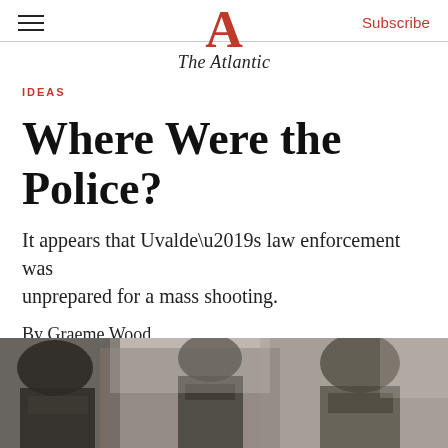The Atlantic
IDEAS
Where Were the Police?
It appears that Uvalde’s law enforcement was unprepared for a mass shooting.
By Graeme Wood
[Figure (photo): Black and white photograph showing law enforcement officers in tactical gear, partially cropped at the bottom of the page.]